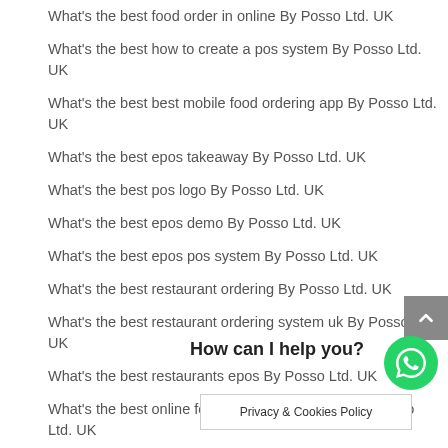What's the best food order in online By Posso Ltd. UK
What's the best how to create a pos system By Posso Ltd. UK
What's the best best mobile food ordering app By Posso Ltd. UK
What's the best epos takeaway By Posso Ltd. UK
What's the best pos logo By Posso Ltd. UK
What's the best epos demo By Posso Ltd. UK
What's the best epos pos system By Posso Ltd. UK
What's the best restaurant ordering By Posso Ltd. UK
What's the best restaurant ordering system uk By Posso Ltd. UK
What's the best restaurants epos By Posso Ltd. UK
What's the best online food ordering restaurant By Posso Ltd. UK
How can I help you?
Privacy & Cookies Policy